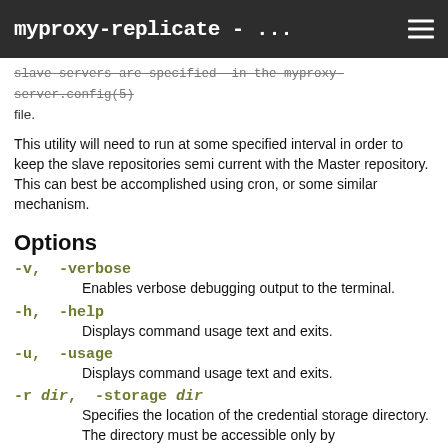myproxy-replicate - ...
slave servers are specified in the myproxy-server.config(5) file.
This utility will need to run at some specified interval in order to keep the slave repositories semi current with the Master repository.  This can best be accomplished using cron, or some similar mechanism.
Options
-v, -verbose
    Enables verbose debugging output to the terminal.
-h, -help
    Displays command usage text and exits.
-u, -usage
    Displays command usage text and exits.
-r dir, -storage dir
    Specifies the location of the credential storage directory. The directory must be accessible only by